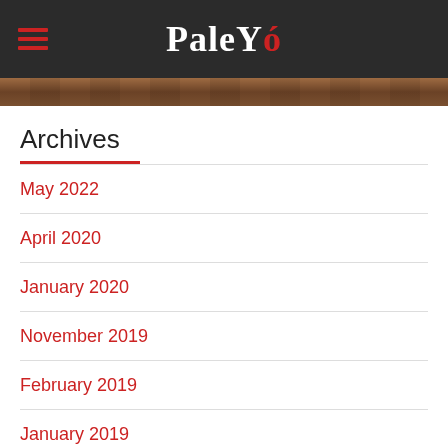PaleYó
Archives
May 2022
April 2020
January 2020
November 2019
February 2019
January 2019
June 2018